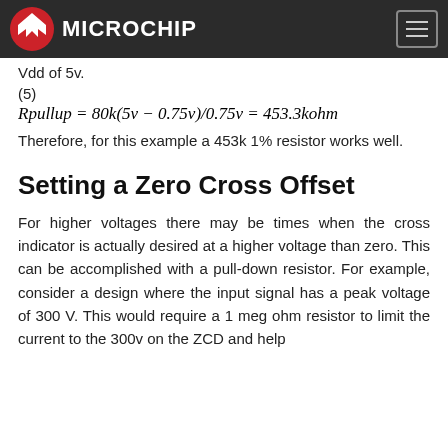Microchip
Vdd of 5v.
(5)
Therefore, for this example a 453k 1% resistor works well.
Setting a Zero Cross Offset
For higher voltages there may be times when the cross indicator is actually desired at a higher voltage than zero. This can be accomplished with a pull-down resistor. For example, consider a design where the input signal has a peak voltage of 300 V. This would require a 1 meg ohm resistor to limit the current to the 300v on the ZCD and help